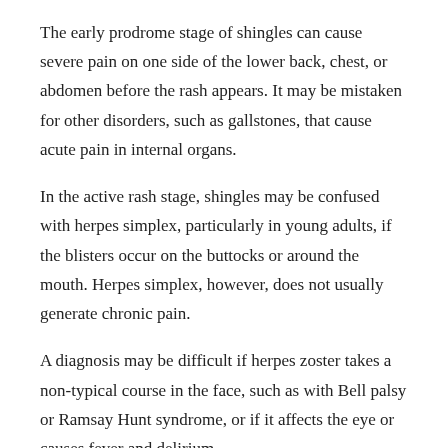The early prodrome stage of shingles can cause severe pain on one side of the lower back, chest, or abdomen before the rash appears. It may be mistaken for other disorders, such as gallstones, that cause acute pain in internal organs.
In the active rash stage, shingles may be confused with herpes simplex, particularly in young adults, if the blisters occur on the buttocks or around the mouth. Herpes simplex, however, does not usually generate chronic pain.
A diagnosis may be difficult if herpes zoster takes a non-typical course in the face, such as with Bell palsy or Ramsay Hunt syndrome, or if it affects the eye or causes fever and delirium.
Vaccination
There are two types of varicella vaccines: